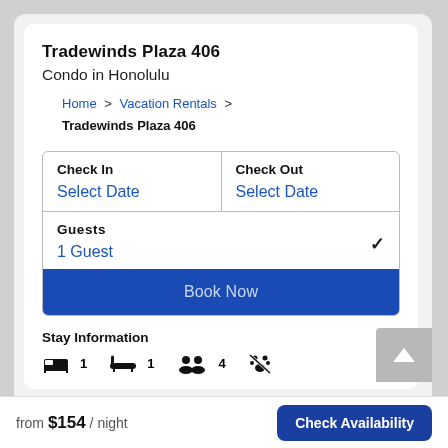Tradewinds Plaza 406
Condo in Honolulu
Home > Vacation Rentals > Tradewinds Plaza 406
| Check In | Check Out |
| --- | --- |
| Select Date | Select Date |
Guests
1 Guest
Book Now
Stay Information
1  1  4  (no pets icon)
from $154 / night
Check Availability